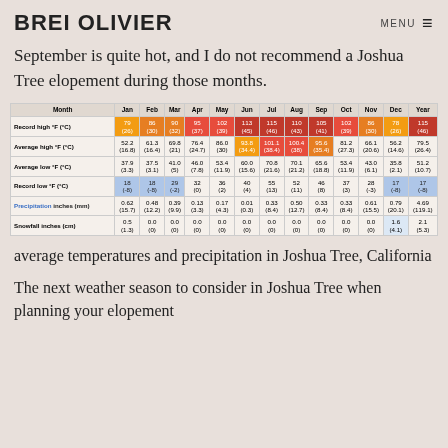BREI OLIVIER
September is quite hot, and I do not recommend a Joshua Tree elopement during those months.
| Month | Jan | Feb | Mar | Apr | May | Jun | Jul | Aug | Sep | Oct | Nov | Dec | Year |
| --- | --- | --- | --- | --- | --- | --- | --- | --- | --- | --- | --- | --- | --- |
| Record high °F (°C) | 79 (26) | 86 (30) | 90 (32) | 95 (37) | 102 (39) | 113 (45) | 115 (46) | 110 (43) | 105 (41) | 102 (39) | 86 (30) | 78 (26) | 115 (46) |
| Average high °F (°C) | 52.2 (16.8) | 61.3 (16.4) | 69.8 (21) | 76.4 (24.7) | 86.0 (30) | 93.8 (34.4) | 101.1 (38.4) | 100.4 (38) | 95.6 (35.4) | 81.2 (27.3) | 66.1 (20.6) | 56.2 (14.6) | 79.5 (26.4) |
| Average low °F (°C) | 37.9 (3.3) | 37.5 (3.1) | 41.0 (5) | 46.0 (7.8) | 53.4 (11.9) | 60.0 (15.6) | 70.8 (21.6) | 70.1 (21.2) | 65.6 (18.8) | 53.4 (11.9) | 43.0 (6.1) | 35.8 (2.1) | 51.2 (10.7) |
| Record low °F (°C) | 18 (-8) | 18 (-8) | 29 (-2) | 32 (0) | 36 (2) | 40 (4) | 55 (13) | 52 (11) | 46 (8) | 37 (3) | 28 (-3) | 17 (-8) | 17 (-8) |
| Precipitation inches (mm) | 0.62 (15.7) | 0.48 (12.2) | 0.39 (9.9) | 0.13 (3.3) | 0.17 (4.3) | 0.01 (0.3) | 0.33 (8.4) | 0.50 (12.7) | 0.33 (8.4) | 0.33 (8.4) | 0.61 (15.5) | 0.79 (20.1) | 4.69 (119.1) |
| Snowfall inches (cm) | 0.5 (1.3) | 0.0 (0) | 0.0 (0) | 0.0 (0) | 0.0 (0) | 0.0 (0) | 0.0 (0) | 0.0 (0) | 0.0 (0) | 0.0 (0) | 0.0 (0) | 1.6 (4.1) | 2.1 (5.3) |
average temperatures and precipitation in Joshua Tree, California
The next weather season to consider in Joshua Tree when planning your elopement